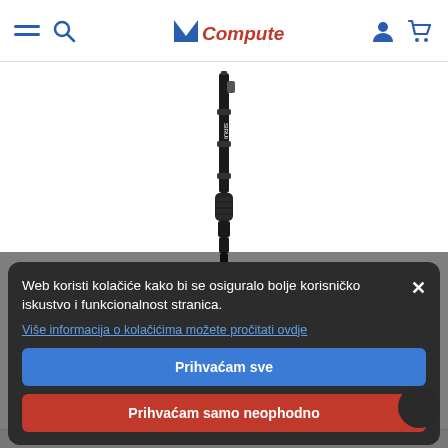M Computers navigation bar with hamburger menu, search, logo, account and cart icons
[Figure (photo): SIRUI P-424 monopod carbon fiber product photo on white background, showing the collapsed monopod vertically centered]
SIRUI P-424 monopod Carbon 171cm
66.9" Maximum Height 8-Layer Carbon Fiber Foam Grip, Wrist Strap Reversible 1/4"-20 & 3/8"-16 Screw Twist-Lock Leg Sections
Supports Up to 33 lb Folds Down to 22" Rubber Feet with Retractable Spike Weighs Just 1.5 lb The SIRUI P-424 4-Sect ...
889,64 Kn
Web koristi kolačiće kako bi se osiguralo bolje korisničko iskustvo i funkcionalnost stranica.
Više informacija o kolačićima možete pročitati ovdje
Prihvaćam sve
Prihvaćam samo neophodno